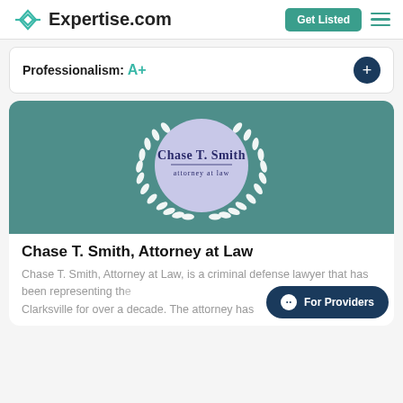[Figure (logo): Expertise.com logo with teal diamond icon and wordmark]
Professionalism: A+
[Figure (photo): Chase T. Smith, Attorney at Law logo — lavender circle with attorney name and laurel wreath on teal banner background]
Chase T. Smith, Attorney at Law
Chase T. Smith, Attorney at Law, is a criminal defense lawyer that has been representing the Clarksville for over a decade. The attorney has